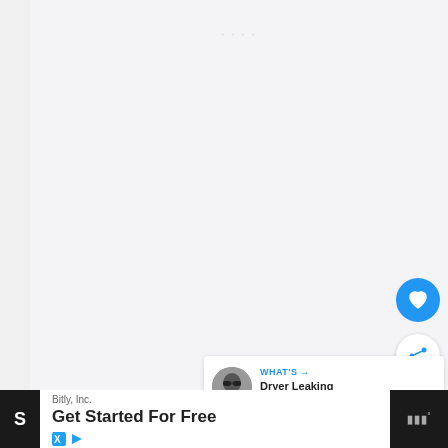[Figure (screenshot): A mostly blank/light gray web page screenshot with faint watermark text at top center, a blue circular heart/favorite button on the right side, a white circular share button below it, a recommendation card showing a grayscale avatar photo and text 'WHAT'S... → Dryer Leaking Water on the...' with a Wunderbucket logo, all on a light gray background.]
[Figure (screenshot): Bottom advertisement banner: dark bar on left and right edges, white ad block in center showing 'Bitly, Inc.' company name, 'Get Started For Free' tagline in bold, and a blue 'OPEN' button. Small ad attribution icons (X and D) on bottom left of ad. Wunderbucket logo on right dark bar.]